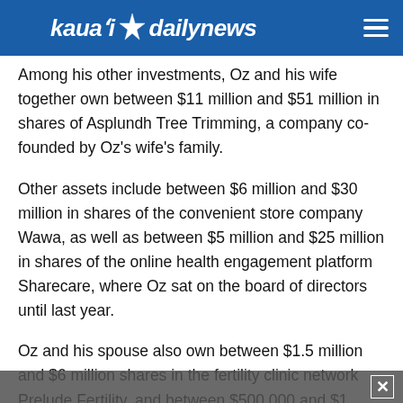kaua'i daily news
Among his other investments, Oz and his wife together own between $11 million and $51 million in shares of Asplundh Tree Trimming, a company co-founded by Oz's wife's family.
Other assets include between $6 million and $30 million in shares of the convenient store company Wawa, as well as between $5 million and $25 million in shares of the online health engagement platform Sharecare, where Oz sat on the board of directors until last year.
Oz and his spouse also own between $1.5 million and $6 million shares in the fertility clinic network Prelude Fertility, and between $500,000 and $1 million in shares of Pantheryx, a biotechnology company that specializes in bovine colostrum products. Oz has served as a director of both companies, the disclosure report shows.
According to the report, Oz and his spouse also own between